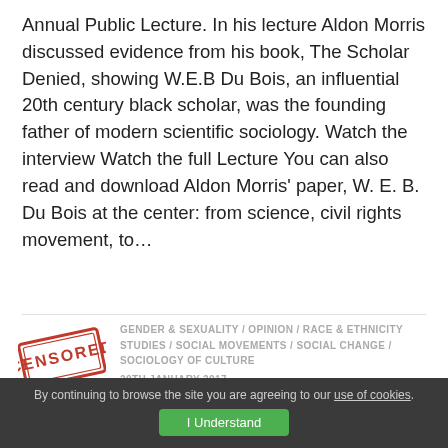Annual Public Lecture. In his lecture Aldon Morris discussed evidence from his book, The Scholar Denied, showing W.E.B Du Bois, an influential 20th century black scholar, was the founding father of modern scientific sociology. Watch the interview Watch the full Lecture You can also read and download Aldon Morris' paper, W. E. B. Du Bois at the center: from science, civil rights movement, to...
[Figure (illustration): Red censored stamp image]
GENDER & SEXUALITY / OPINION / RACE & ETHNICITY STUDIES / SOCIAL MOVEMENTS / SOCIAL CHANGE / SOCIOLOGY OF CULTURE
20TH JANUARY 2017
Silence Does Not Equal Siding
By continuing to browse the site you are agreeing to our use of cookies.